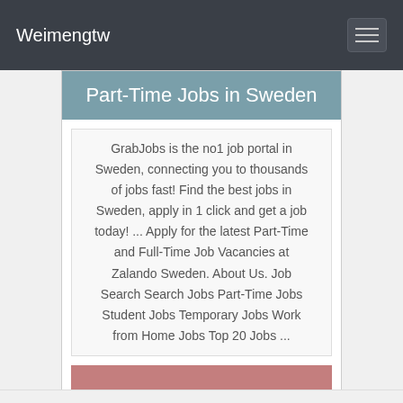Weimengtw
Part-Time Jobs in Sweden
GrabJobs is the no1 job portal in Sweden, connecting you to thousands of jobs fast! Find the best jobs in Sweden, apply in 1 click and get a job today! ... Apply for the latest Part-Time and Full-Time Job Vacancies at Zalando Sweden. About Us. Job Search Search Jobs Part-Time Jobs Student Jobs Temporary Jobs Work from Home Jobs Top 20 Jobs ...
VIEW